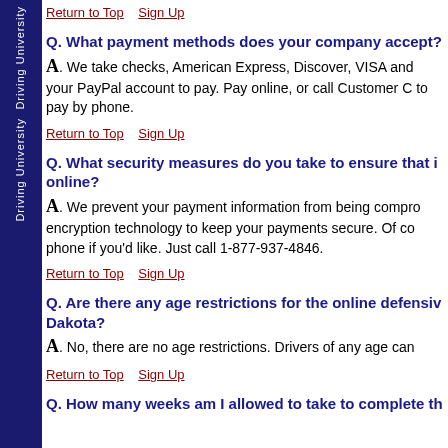Return to Top    Sign Up
Q. What payment methods does your company accept?
A. We take checks, American Express, Discover, VISA and your PayPal account to pay. Pay online, or call Customer C to pay by phone.
Return to Top    Sign Up
Q. What security measures do you take to ensure that it is safe to pay online?
A. We prevent your payment information from being compromised by using encryption technology to keep your payments secure. Of course, you can pay by phone if you'd like. Just call 1-877-937-4846.
Return to Top    Sign Up
Q. Are there any age restrictions for the online defensive driving course in North Dakota?
A. No, there are no age restrictions. Drivers of any age can
Return to Top    Sign Up
Q. How many weeks am I allowed to take to complete th